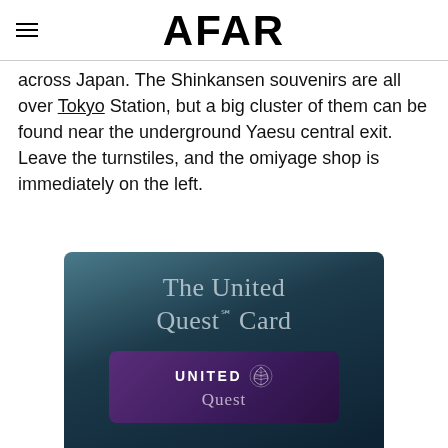AFAR
across Japan. The Shinkansen souvenirs are all over Tokyo Station, but a big cluster of them can be found near the underground Yaesu central exit. Leave the turnstiles, and the omiyage shop is immediately on the left.
[Figure (illustration): Advertisement for The United Quest℠ Card showing a dark teal/blue gradient background with the card name in grey text and a purple United Quest credit card at the bottom with the United Airlines logo.]